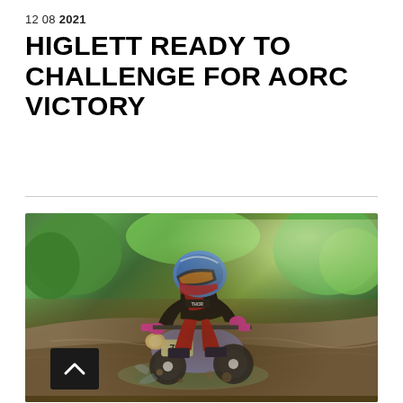12 08 2021
HIGLETT READY TO CHALLENGE FOR AORC VICTORY
[Figure (photo): Motocross/enduro rider wearing number 737, dressed in black and red Thor Yamaha gear with a blue helmet, riding a blue/purple dirt bike through a muddy rocky creek or trail section with green trees and foliage in the background.]